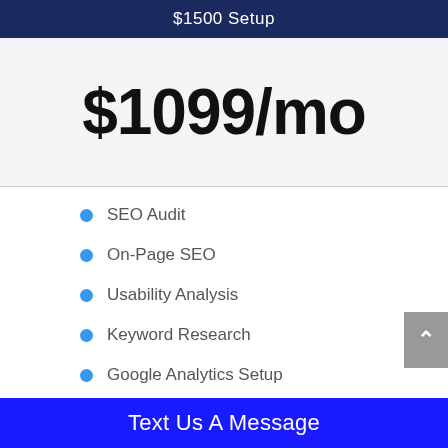$1500 Setup
$1099/mo
SEO Audit
On-Page SEO
Usability Analysis
Keyword Research
Google Analytics Setup
Keywords - Optimize 30
Text Us A Message